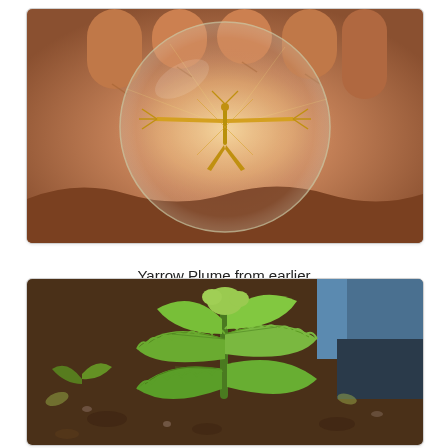[Figure (photo): A hand holding a small moth (Yarrow Plume moth) in the palm, photographed through a transparent circular petri dish or lens, showing the distinctive T-shaped plume moth with golden-yellow wings spread out in a cross/star pattern against the skin of the hand.]
Yarrow Plume from earlier
[Figure (photo): A green leafy plant growing in soil, viewed from above at a slight angle. The plant has deeply lobed, serrated green leaves and appears to be a young yarrow or similar herbaceous plant. A person's legs/feet are visible in the background along with soil and small stones.]